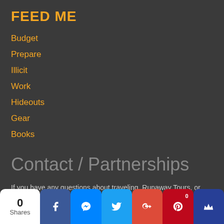FEED ME
Budget
Prepare
Illicit
Work
Hideouts
Gear
Books
Contact / Partnerships
If you have any questions about traveling, Runaway Tours, or anything surrounding The Runaway Guide, send me a message through my Facebook page.
If you're interested in working with The Runaway Guide in any travel related
0 Shares | Facebook | Messenger | Twitter | G+ | Pinterest 0 | Crown